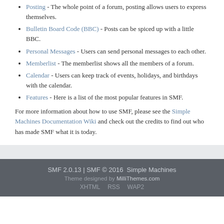Posting - The whole point of a forum, posting allows users to express themselves.
Bulletin Board Code (BBC) - Posts can be spiced up with a little BBC.
Personal Messages - Users can send personal messages to each other.
Memberlist - The memberlist shows all the members of a forum.
Calendar - Users can keep track of events, holidays, and birthdays with the calendar.
Features - Here is a list of the most popular features in SMF.
For more information about how to use SMF, please see the Simple Machines Documentation Wiki and check out the credits to find out who has made SMF what it is today.
SMF 2.0.13 | SMF © 2016  Simple Machines
Theme designed by MilliThemes.com
XHTML  RSS  WAP2